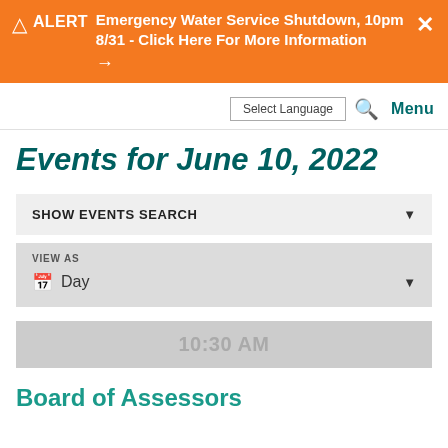⚠ ALERT Emergency Water Service Shutdown, 10pm 8/31 - Click Here For More Information →
Select Language  🔍  Menu
Events for June 10, 2022
SHOW EVENTS SEARCH ▼
VIEW AS
Day ▼
10:30 AM
Board of Assessors